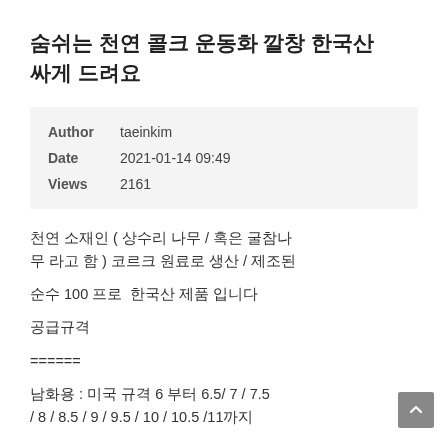숨쉬는 천연 콜크 운동화 깔창 한국산 싸게 드려요
| Field | Value |
| --- | --- |
| Author | taeinkim |
| Date | 2021-01-14 09:49 |
| Views | 2161 |
천연 소재인 ( 상수리 나무 / 혹은 굴참나무 라고 함 ) 코르크 원료로 생산 / 제조된
순수 100 프로  한국산 제품 입니다
공급규격
======
남화용 : 미국 규격 6 부터 6.5/ 7 / 7.5 / 8 / 8.5 / 9 / 9.5 / 10 / 10.5 /11까지